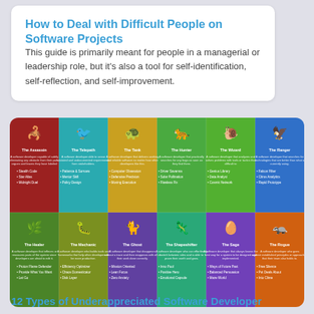How to Deal with Difficult People on Software Projects
This guide is primarily meant for people in a managerial or leadership role, but it's also a tool for self-identification, self-reflection, and self-improvement.
[Figure (infographic): 12 Types of Underappreciated Software Developers infographic showing colored tiles for: The Assassin (dark red), The Telepath (teal), The Tank (yellow/gold), The Hunter (green), The Wizard (green), The Ranger (blue); The Healer (green), The Mechanic (olive), The Ghost (purple), The Shapeshifter (teal/green), The Sage (purple), The Rogue (orange). Each tile has a white animal icon and bullet-point traits.]
12 Types of Underappreciated Software Developer